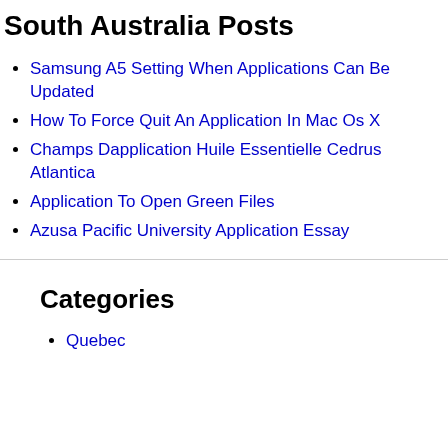South Australia Posts
Samsung A5 Setting When Applications Can Be Updated
How To Force Quit An Application In Mac Os X
Champs Dapplication Huile Essentielle Cedrus Atlantica
Application To Open Green Files
Azusa Pacific University Application Essay
Categories
Quebec